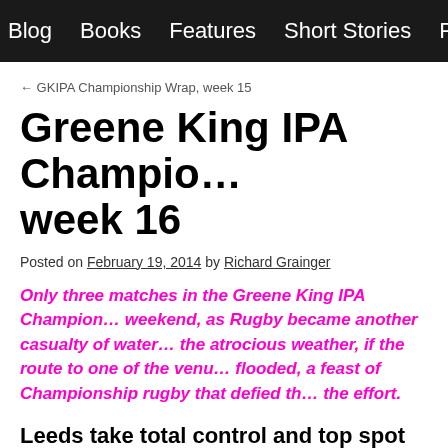Blog  Books  Features  Short Stories  Poetry  A
← GKIPA Championship Wrap, week 15
Greene King IPA Championship wrap, week 16
Posted on February 19, 2014 by Richard Grainger
Only three matches in the Greene King IPA Championship this weekend, as Rugby became another casualty of water and the atrocious weather, if the route to one of the venues flooded, a feast of Championship rugby that defied the effort.
Leeds take total control and top spot
Leeds Carnegie 62, Moseley 5